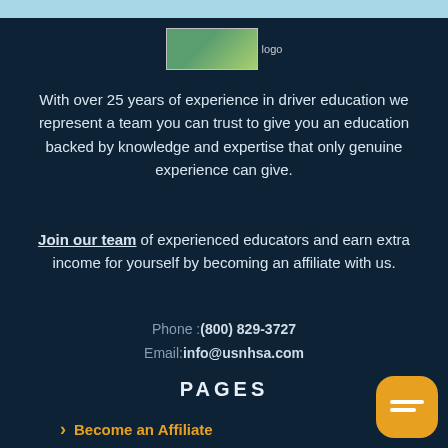[Figure (logo): Website logo placeholder image with green/white color]
With over 25 years of experience in driver education we represent a team you can trust to give you an education backed by knowledge and expertise that only genuine experience can give.
Join our team of experienced educators and earn extra income for yourself by becoming an affiliate with us.
Phone :(800) 829-3727
Email:info@usnhsa.com
PAGES
Become an Affiliate